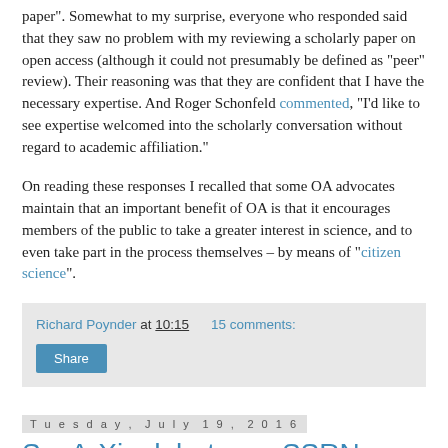paper". Somewhat to my surprise, everyone who responded said that they saw no problem with my reviewing a scholarly paper on open access (although it could not presumably be defined as “peer” review). Their reasoning was that they are confident that I have the necessary expertise. And Roger Schonfeld commented, “I’d like to see expertise welcomed into the scholarly conversation without regard to academic affiliation.”
On reading these responses I recalled that some OA advocates maintain that an important benefit of OA is that it encourages members of the public to take a greater interest in science, and to even take part in the process themselves – by means of “citizen science”.
Richard Poynder at 10:15   15 comments:
Share
Tuesday, July 19, 2016
SocArXiv debuts, as SSRN acquisition